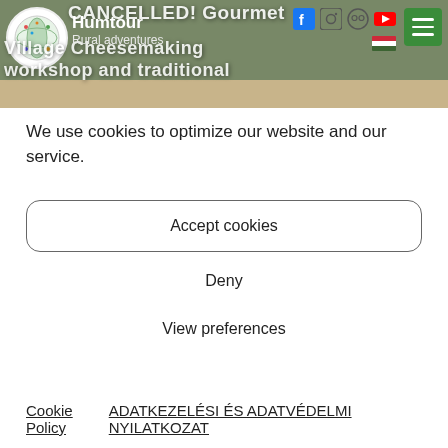CANCELLED! Gourmet Village Cheesemaking workshop and traditional — Humtour Rural adventures
We use cookies to optimize our website and our service.
Accept cookies
Deny
View preferences
Cookie Policy   ADATKEZELÉSI ÉS ADATVÉDELMI NYILATKOZAT